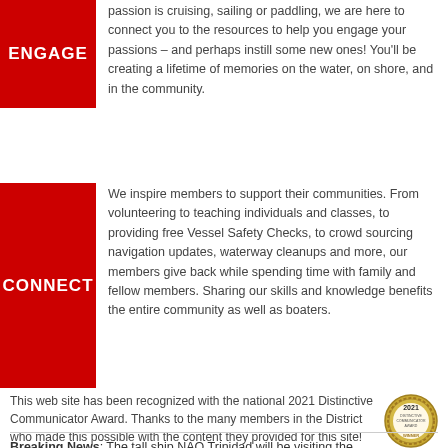passion is cruising, sailing or paddling, we are here to connect you to the resources to help you engage your passions – and perhaps instill some new ones! You'll be creating a lifetime of memories on the water, on shore, and in the community.
We inspire members to support their communities. From volunteering to teaching individuals and classes, to providing free Vessel Safety Checks, to crowd sourcing navigation updates, waterway cleanups and more, our members give back while spending time with family and fellow members. Sharing our skills and knowledge benefits the entire community as well as boaters.
This web site has been recognized with the national 2021 Distinctive Communicator Award. Thanks to the many members in the District who made this possible with the content they provided for this site!
[Figure (logo): 2021 Distinctive Communicator Award badge - gold circular seal]
Breaking News: The tall ship NAO Trinidad will be visiting the